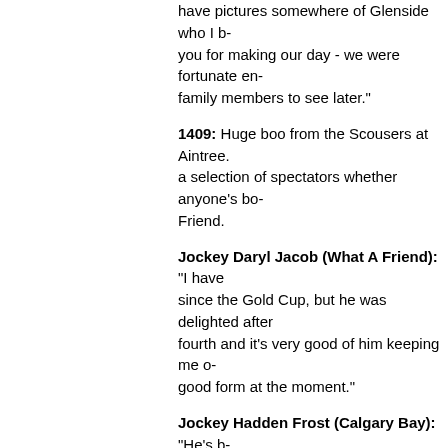have pictures somewhere of Glenside who I b- you for making our day - we were fortunate en- family members to see later."
1409: Huge boo from the Scousers at Aintree. a selection of spectators whether anyone's bo- Friend.
Jockey Daryl Jacob (What A Friend): "I have since the Gold Cup, but he was delighted after fourth and it's very good of him keeping me o- good form at the moment."
Jockey Hadden Frost (Calgary Bay): "He's b- a good jumper and hopefully he's the right so-
E-mail from James: "I've put a couple of pou- girlfriend. She poked herself in the eye and is fate."
Oscar Time jockey Sam Waley-Cohen on B- sport for me. One of the big things for me is w- I'm fit as can possibly be. This is such a drea- much courage but there has to be a unity betw- have Cheryl Cole streaking and you wouldn't e-
From ConorBond: "Calgary Bay for the Gra-